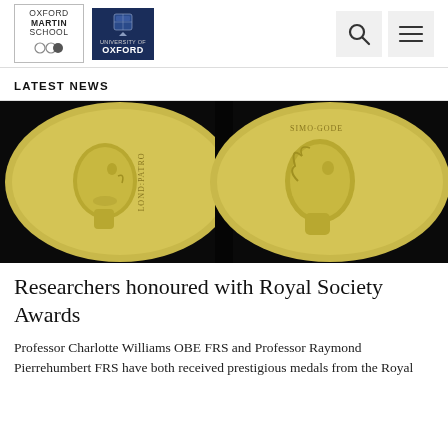[Figure (logo): Oxford Martin School logo (bordered box with text) and University of Oxford logo (dark navy blue with crest)]
LATEST NEWS
[Figure (photo): Two gold medals side by side on a black background, each showing a profile portrait relief — Royal Society award medals]
Researchers honoured with Royal Society Awards
Professor Charlotte Williams OBE FRS and Professor Raymond Pierrehumbert FRS have both received prestigious medals from the Royal